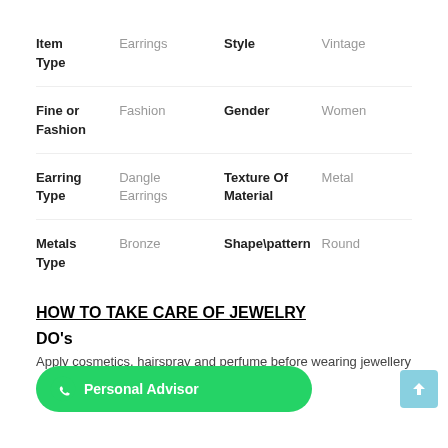| Attribute | Value | Attribute | Value |
| --- | --- | --- | --- |
| Item Type | Earrings | Style | Vintage |
| Fine or Fashion | Fashion | Gender | Women |
| Earring Type | Dangle Earrings | Texture Of Material | Metal |
| Metals Type | Bronze | Shape\pattern | Round |
HOW TO TAKE CARE OF JEWELRY
DO's
Apply cosmetics, hairspray and perfume before wearing jewellery